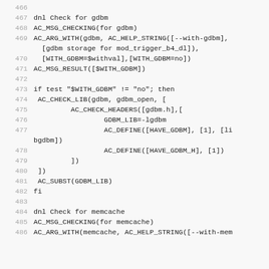[Figure (screenshot): Source code listing showing autoconf configure.ac script lines 466-486, including checks for gdbm and memcache libraries using AC_MSG_CHECKING, AC_ARG_WITH, AC_CHECK_LIB, AC_CHECK_HEADERS, AC_DEFINE, AC_SUBST macros.]